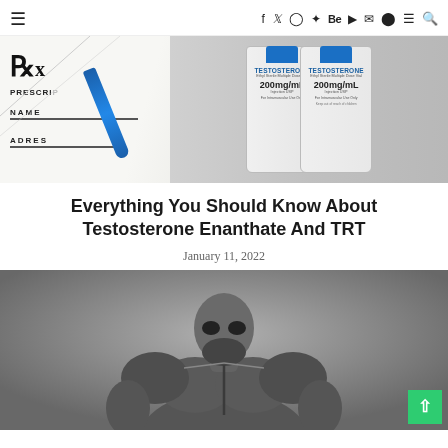≡  f  𝕏  ☐  ⊕  Be  ▶  ✉  👻  ☰  🔍
[Figure (photo): Testosterone vials (200mg/mL) with an Rx prescription pad and a blue pen]
Everything You Should Know About Testosterone Enanthate And TRT
January 11, 2022
[Figure (photo): Black and white photo of a muscular bearded man from chest up]